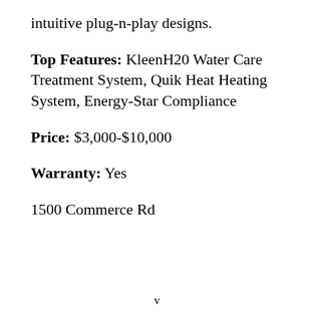intuitive plug-n-play designs.
Top Features: KleenH20 Water Care Treatment System, Quik Heat Heating System, Energy-Star Compliance
Price: $3,000-$10,000
Warranty: Yes
1500 Commerce Rd
v